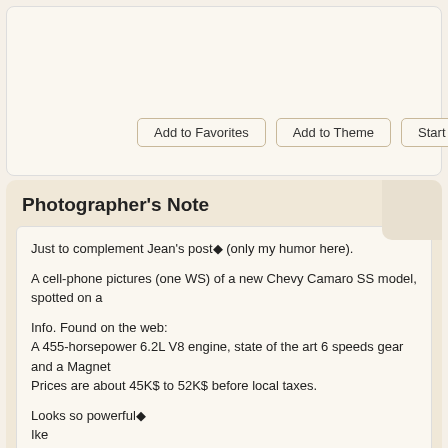[Figure (screenshot): Top section with cream/beige background panel, partially visible]
Add to Favorites   Add to Theme   Start Discuss...
Photographer's Note
Just to complement Jean's post◆ (only my humor here).

A cell-phone pictures (one WS) of a new Chevy Camaro SS model, spotted on a...

Info. Found on the web:
A 455-horsepower 6.2L V8 engine, state of the art 6 speeds gear and a Magnet...
Prices are about 45K$ to 52K$ before local taxes.

Looks so powerful◆
Ike
pajaran, Fis?, alvaraalto, Chris J, COSTANTINO, jemafler, maciako, adrama...